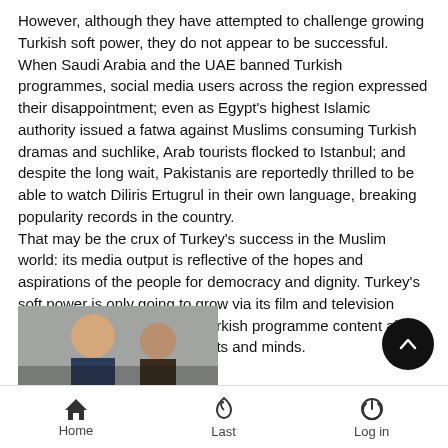However, although they have attempted to challenge growing Turkish soft power, they do not appear to be successful. When Saudi Arabia and the UAE banned Turkish programmes, social media users across the region expressed their disappointment; even as Egypt's highest Islamic authority issued a fatwa against Muslims consuming Turkish dramas and suchlike, Arab tourists flocked to Istanbul; and despite the long wait, Pakistanis are reportedly thrilled to be able to watch Diliris Ertugrul in their own language, breaking popularity records in the country. That may be the crux of Turkey's success in the Muslim world: its media output is reflective of the hopes and aspirations of the people for democracy and dignity. Turkey's soft power is only going to grow via its film and television industry, not least because Turkish programme content aims to inspire, not command, hearts and minds.
[Figure (photo): Partial photo showing people, partially visible at bottom of screen]
Home  Last  Log in